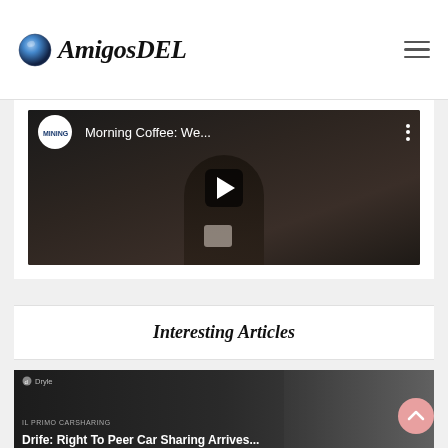AmigosDEL
[Figure (screenshot): YouTube-style video thumbnail showing 'Morning Coffee: We...' with MINING channel logo and play button overlay on dark background image of person holding coffee cup]
Interesting Articles
[Figure (screenshot): Article card from Dryle showing 'IL PRIMO CARSHARING' label and headline text starting with 'Drife: Right To Peer Car Sharing Arrives...' with dark background image]